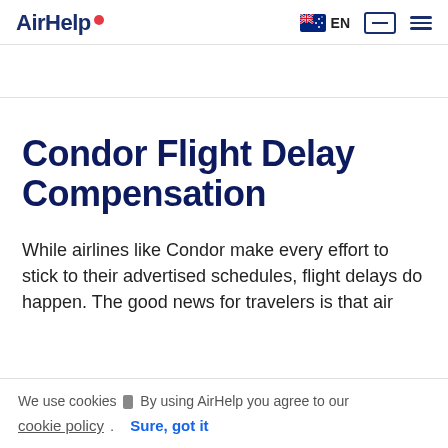AirHelp  EN
Condor Flight Delay Compensation
While airlines like Condor make every effort to stick to their advertised schedules, flight delays do happen. The good news for travelers is that air
We use cookies ▮ By using AirHelp you agree to our
cookie policy.  Sure, got it